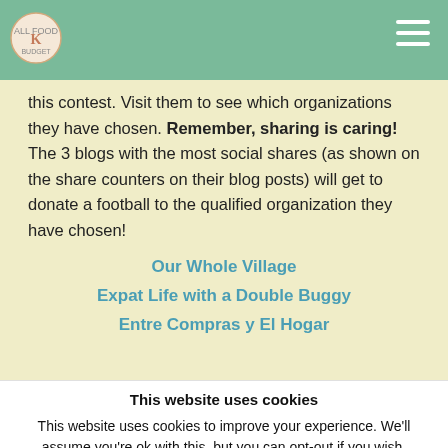Navigation bar with logo and hamburger menu
this contest. Visit them to see which organizations they have chosen. Remember, sharing is caring! The 3 blogs with the most social shares (as shown on the share counters on their blog posts) will get to donate a football to the qualified organization they have chosen!
Our Whole Village
Expat Life with a Double Buggy
Entre Compras y El Hogar
This website uses cookies
This website uses cookies to improve your experience. We'll assume you're ok with this, but you can opt-out if you wish.
Accept   Read More